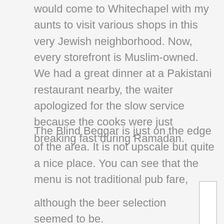would come to Whitechapel with my aunts to visit various shops in this very Jewish neighborhood. Now, every storefront is Muslim-owned. We had a great dinner at a Pakistani restaurant nearby, the waiter apologized for the slow service because the cooks were just breaking fast during Ramadan.
The Blind Beggar is just on the edge of the area. It is not upscale but quite a nice place. You can see that the menu is not traditional pub fare,
although the beer selection seemed to be.
[Figure (photo): Image placeholder box (white rectangle with border)]
Besides my own memories, the